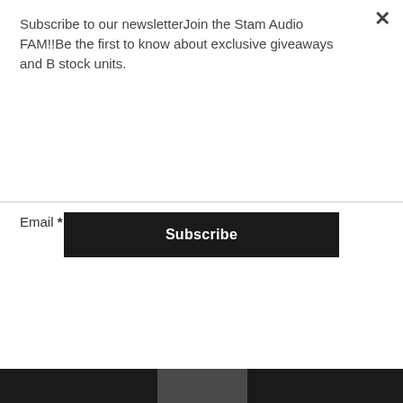Subscribe to our newsletterJoin the Stam Audio FAM!!Be the first to know about exclusive giveaways and B stock units.
[Figure (other): Black Subscribe button]
Email *
[Figure (other): Email input text field]
[Figure (other): Submit button with light grey background]